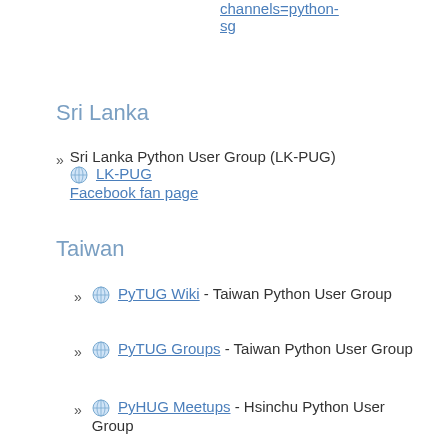channels=python-sg
Sri Lanka
Sri Lanka Python User Group (LK-PUG) LK-PUG Facebook fan page
Taiwan
PyTUG Wiki - Taiwan Python User Group
PyTUG Groups - Taiwan Python User Group
PyHUG Meetups - Hsinchu Python User Group